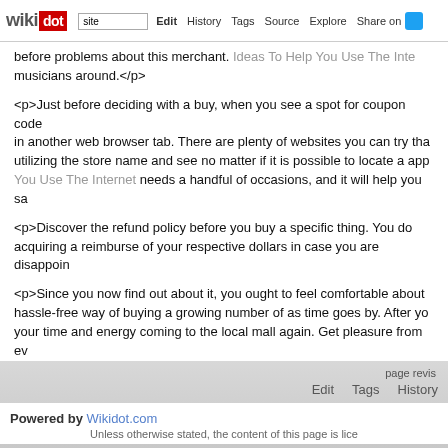wikidot | site Edit History Tags Source Explore Share on
before problems about this merchant. Ideas To Help You Use The Internet musicians around.</p>
<p>Just before deciding with a buy, when you see a spot for coupon code in another web browser tab. There are plenty of websites you can try that utilizing the store name and see no matter if it is possible to locate a ap You Use The Internet needs a handful of occasions, and it will help you sa
<p>Discover the refund policy before you buy a specific thing. You do acquiring a reimburse of your respective dollars in case you are disappoin
<p>Since you now find out about it, you ought to feel comfortable about hassle-free way of buying a growing number of as time goes by. After yo your time and energy coming to the local mall again. Get pleasure from ev
Comments: 0
Add a New Comment
page revis Edit Tags History
Powered by Wikidot.com
Unless otherwise stated, the content of this page is lice